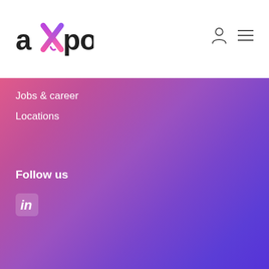[Figure (logo): Axpo company logo — stylized 'axpo' text with a purple/pink X symbol]
[Figure (other): User account icon (person silhouette) and hamburger menu icon in top-right navigation]
Jobs & career
Locations
Follow us
[Figure (other): LinkedIn social media icon (in white rounded square)]